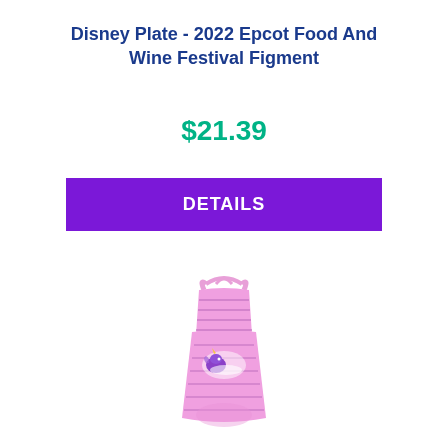Disney Plate - 2022 Epcot Food And Wine Festival Figment
$21.39
DETAILS
[Figure (photo): Pink Figment apron product image from the 2022 Epcot Food and Wine Festival, featuring a light purple/pink apron with horizontal stripe detailing and a Figment character graphic in the center.]